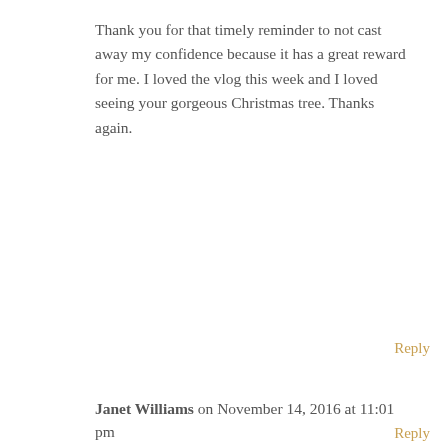Thank you for that timely reminder to not cast away my confidence because it has a great reward for me. I loved the vlog this week and I loved seeing your gorgeous Christmas tree. Thanks again.
Reply
Janet Williams on November 14, 2016 at 11:01 pm
Hello Dr DeeDee
Thanks again for the encouraging words – you always say it in such a simple manner, it's like “yes I can handle this”. Also, thanks for letting us get a little peek into your beautiful home, Love it!
Reply